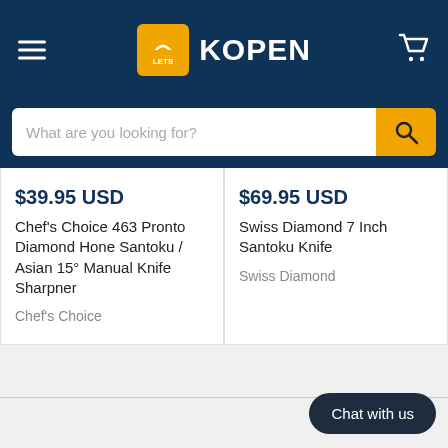[Figure (logo): LetsKopen shopping website header with hamburger menu, logo (LETS bag icon + KOPEN text), and cart icon on dark navy background]
What are you looking for?
$39.95 USD
Chef's Choice 463 Pronto Diamond Hone Santoku / Asian 15° Manual Knife Sharpner
Chef's Choice
$69.95 USD
Swiss Diamond 7 Inch Santoku Knife
Swiss Diamond
Chat with us